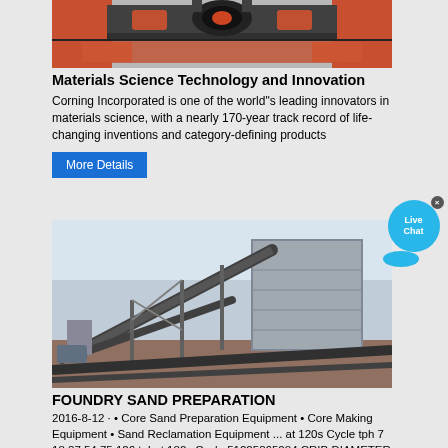[Figure (photo): Industrial machinery close-up with orange/red metal components and mechanical parts viewed from front]
Materials Science Technology and Innovation
Corning Incorporated is one of the world"s leading innovators in materials science, with a nearly 170-year track record of life-changing inventions and category-defining products
More Details
[Figure (photo): Large industrial foundry sand preparation facility with conveyor belts, steel structures, and machinery at an outdoor industrial site]
FOUNDRY SAND PREPARATION
2016-8-12 · • Core Sand Preparation Equipment • Core Making Equipment • Sand Reclamation Equipment ... at 120s Cycle tph 7 18 37 54 75 126 tphat 180s Cycle 51225365084 CRIB DIAMETER in 24 40 50 65 80 90 100 120 CRIB